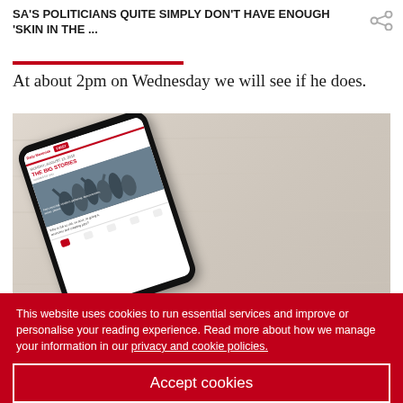SA'S POLITICIANS QUITE SIMPLY DON'T HAVE ENOUGH 'SKIN IN THE ...
At about 2pm on Wednesday we will see if he does.
[Figure (photo): A smartphone displaying a news website (Daily Maverick) showing 'THE BIG STORIES' section with a photo of people protesting, placed at an angle on a light wooden surface]
This website uses cookies to run essential services and improve or personalise your reading experience. Read more about how we manage your information in our privacy and cookie policies.
Accept cookies